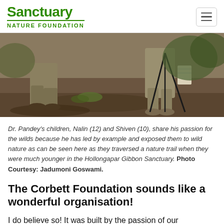Sanctuary Nature Foundation
[Figure (photo): Two children on a nature trail in a forested area. One child is crouching down examining the ground while another stands nearby holding a walking stick/tripod. Both are wearing khaki/olive clothing. The ground is muddy and there is forest vegetation in the background.]
Dr. Pandey's children, Nalin (12) and Shiven (10), share his passion for the wilds because he has led by example and exposed them to wild nature as can be seen here as they traversed a nature trail when they were much younger in the Hollongapar Gibbon Sanctuary. Photo Courtesy: Jadumoni Goswami.
The Corbett Foundation sounds like a wonderful organisation!
I do believe so! It was built by the passion of our